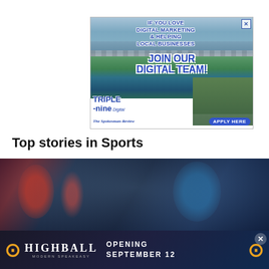[Figure (illustration): Advertisement banner for Triple Nine Digital / The Spokesman-Review. Text reads: IF YOU LOVE DIGITAL MARKETING & HELPING LOCAL BUSINESSES — JOIN OUR DIGITAL TEAM! With Triple Nine Digital logo and APPLY HERE button. Background shows a bridge and waterfall photo.]
Top stories in Sports
[Figure (photo): Sports photo strip showing athletes in action, dark toned background.]
[Figure (illustration): Bottom advertisement banner for Highball Modern Speakeasy. Text reads: HIGHBALL MODERN SPEAKEASY — OPENING SEPTEMBER 12. Dark background with gold ornamental accents.]